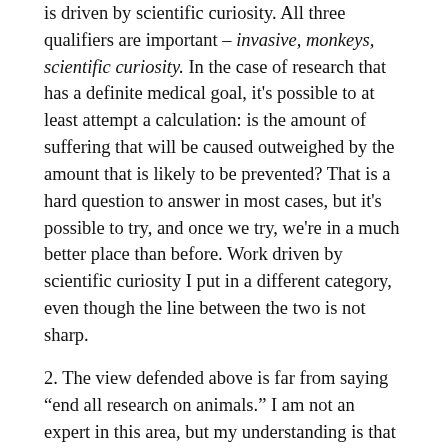is driven by scientific curiosity. All three qualifiers are important – invasive, monkeys, scientific curiosity. In the case of research that has a definite medical goal, it's possible to at least attempt a calculation: is the amount of suffering that will be caused outweighed by the amount that is likely to be prevented? That is a hard question to answer in most cases, but it's possible to try, and once we try, we're in a much better place than before. Work driven by scientific curiosity I put in a different category, even though the line between the two is not sharp.
2. The view defended above is far from saying “end all research on animals.” I am not an expert in this area, but my understanding is that monkeys are not used a lot in basic research now, especially outside neuroscience. A huge amount of work is done with other organisms, especially mice, fruit flies, nematodes (tiny worms), and a small fish called a zebrafish. Of these, mice are the obvious cases to think about next. In the case of